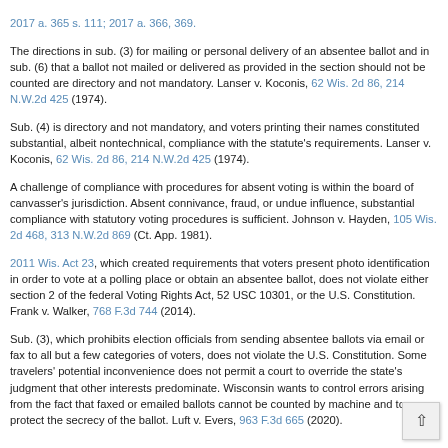2017 a. 365 s. 111; 2017 a. 366, 369.
The directions in sub. (3) for mailing or personal delivery of an absentee ballot and in sub. (6) that a ballot not mailed or delivered as provided in the section should not be counted are directory and not mandatory. Lanser v. Koconis, 62 Wis. 2d 86, 214 N.W.2d 425 (1974).
Sub. (4) is directory and not mandatory, and voters printing their names constituted substantial, albeit nontechnical, compliance with the statute's requirements. Lanser v. Koconis, 62 Wis. 2d 86, 214 N.W.2d 425 (1974).
A challenge of compliance with procedures for absent voting is within the board of canvasser's jurisdiction. Absent connivance, fraud, or undue influence, substantial compliance with statutory voting procedures is sufficient. Johnson v. Hayden, 105 Wis. 2d 468, 313 N.W.2d 869 (Ct. App. 1981).
2011 Wis. Act 23, which created requirements that voters present photo identification in order to vote at a polling place or obtain an absentee ballot, does not violate either section 2 of the federal Voting Rights Act, 52 USC 10301, or the U.S. Constitution. Frank v. Walker, 768 F.3d 744 (2014).
Sub. (3), which prohibits election officials from sending absentee ballots via email or fax to all but a few categories of voters, does not violate the U.S. Constitution. Some travelers' potential inconvenience does not permit a court to override the state's judgment that other interests predominate. Wisconsin wants to control errors arising from the fact that faxed or emailed ballots cannot be counted by machine and to protect the secrecy of the ballot. Luft v. Evers, 963 F.3d 665 (2020).